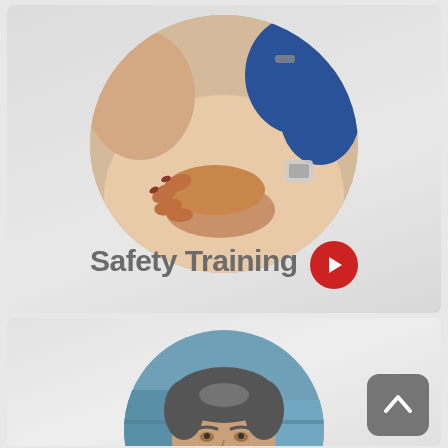[Figure (photo): A card with a circular-cropped photo of hands performing CPR chest compressions on a mannequin torso, with a blue strap visible. Below the circle is bold gray text 'Safety Training' with a red circular arrow button.]
[Figure (photo): A card with a circular-cropped photo of a middle-aged man with salt-and-pepper hair smiling, in front of a blue building background. A gray 'back to top' button with an upward chevron is visible in the bottom-right corner.]